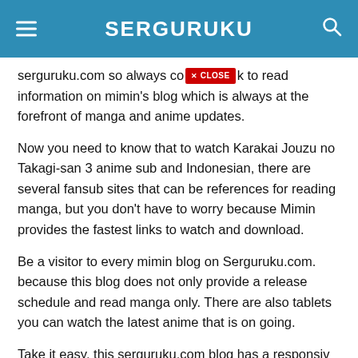SERGURUKU
serguruku.com so always come back to read information on mimin's blog which is always at the forefront of manga and anime updates.
Now you need to know that to watch Karakai Jouzu no Takagi-san 3 anime sub and Indonesian, there are several fansub sites that can be references for reading manga, but you don't have to worry because Mimin provides the fastest links to watch and download.
Be a visitor to every mimin blog on Serguruku.com. because this blog does not only provide a release schedule and read manga only. There are also tablets you can watch the latest anime that is on going.
Take it easy, this serguruku.com blog has a responsive fast loading display and supports all Android phones from